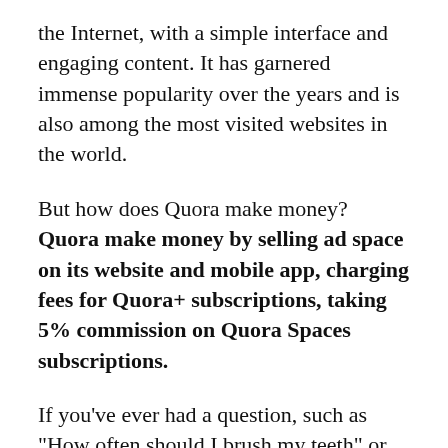the Internet, with a simple interface and engaging content. It has garnered immense popularity over the years and is also among the most visited websites in the world.
But how does Quora make money? Quora make money by selling ad space on its website and mobile app, charging fees for Quora+ subscriptions, taking 5% commission on Quora Spaces subscriptions.
If you’ve ever had a question, such as “How often should I brush my teeth” or “Why is